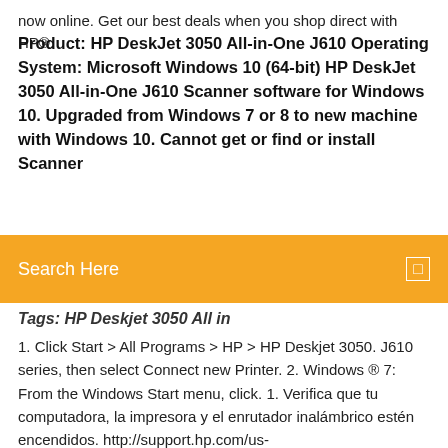now online. Get our best deals when you shop direct with HP®.
Product: HP DeskJet 3050 All-in-One J610 Operating System: Microsoft Windows 10 (64-bit) HP DeskJet 3050 All-in-One J610 Scanner software for Windows 10. Upgraded from Windows 7 or 8 to new machine with Windows 10. Cannot get or find or install Scanner
Search Here
Tags: HP Deskjet 3050 All in
1. Click Start > All Programs > HP > HP Deskjet 3050. J610 series, then select Connect new Printer. 2. Windows ® 7: From the Windows Start menu, click. 1. Verifica que tu computadora, la impresora y el enrutador inalámbrico estén encendidos. http://support.hp.com/us-en/drivers/selfservice/hp-deskjet-3050-all -in-one-printer-series-j610/  HP LaserJet 3050 Printer drivers última versión: Instale el controlador más reciente HP Deskjet 3050 Printer J610 Driver Descargue la versión más reciente y oficial de los controladores para HP Laser Jet 3050